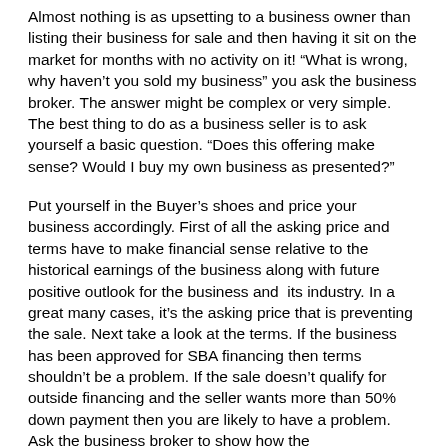Almost nothing is as upsetting to a business owner than listing their business for sale and then having it sit on the market for months with no activity on it!  “What is wrong, why haven’t you sold my business” you ask the business broker.  The answer might be complex or very simple.  The best thing to do as a business seller is to ask yourself a basic question.  “Does this offering make sense?  Would I buy my own business as presented?”
Put yourself in the Buyer’s shoes and price your business accordingly.  First of all the asking price and terms have to make financial sense relative to the historical earnings of the business along with future positive outlook for the business and  its industry.  In a great many cases, it’s the asking price that is preventing the sale.  Next take a look at the terms.  If the business has been approved for SBA financing then terms shouldn’t be a problem.  If the sale doesn’t qualify for outside financing and the seller wants more than 50% down payment then you are likely to have a problem.  Ask the business broker to show how the